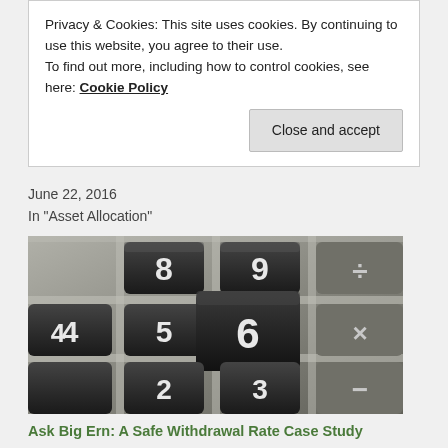Privacy & Cookies: This site uses cookies. By continuing to use this website, you agree to their use.
To find out more, including how to control cookies, see here: Cookie Policy
June 22, 2016
In "Asset Allocation"
[Figure (photo): Close-up photograph of a black calculator keypad showing number keys 2, 3, 4, 5, 6, 8, 9 and other keys in dark tones]
Ask Big Ern: A Safe Withdrawal Rate Case Study